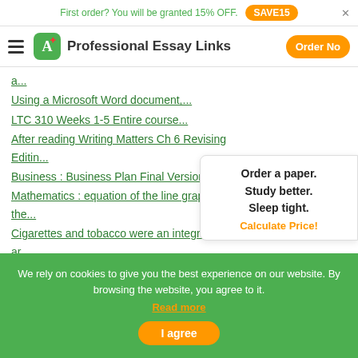First order? You will be granted 15% OFF. SAVE15
Professional Essay Links  Order Now
a...
Using a Microsoft Word document,...
LTC 310 Weeks 1-5 Entire course...
After reading Writing Matters Ch 6 Revising Editin...
Business : Business Plan Final Version...
Mathematics : equation of the line graphed in the...
Cigarettes and tobacco were an integral part of ar...
After reading Writing Matters Ch 6 Revising
Order a paper. Study better. Sleep tight. Calculate Price!
We rely on cookies to give you the best experience on our website. By browsing the website, you agree to it. Read more
I agree